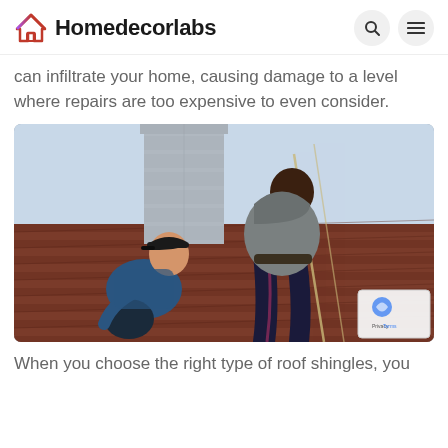Homedecorlabs
can infiltrate your home, causing damage to a level where repairs are too expensive to even consider.
[Figure (photo): Two workers on a roof near a chimney, working on roof shingles. One is crouching and smiling, wearing a baseball cap and blue jacket. The other is standing and bending over working, wearing a grey hoodie and dark pants. The roof has brown/red shingles.]
When you choose the right type of roof shingles, you